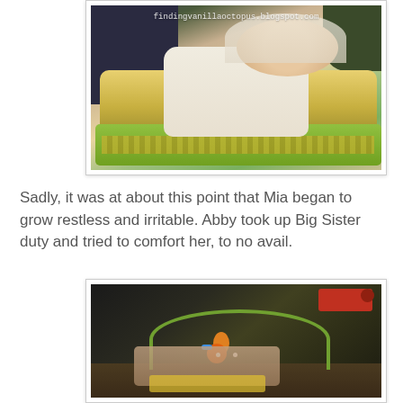[Figure (photo): A baby in a white star-patterned onesie reclining in a Fisher-Price infant bouncer seat with yellow/green colors. A person in a dark navy jacket stands nearby. The photo has a white border and watermark.]
Sadly, it was at about this point that Mia began to grow restless and irritable. Abby took up Big Sister duty and tried to comfort her, to no avail.
[Figure (photo): A close-up photo of a baby in a green bouncer/activity seat. A colorful toy with an orange creature hangs from the seat's arch. Dark background with wooden floor visible.]